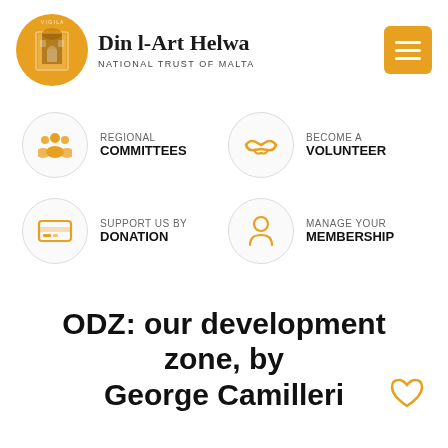[Figure (logo): Din l-Art Helwa National Trust of Malta logo with orange circular emblem featuring a Maltese architectural element]
Din l-Art Helwa
NATIONAL TRUST OF MALTA
REGIONAL COMMITTEES
BECOME A VOLUNTEER
SUPPORT US BY DONATION
MANAGE YOUR MEMBERSHIP
ODZ: our development zone, by George Camilleri